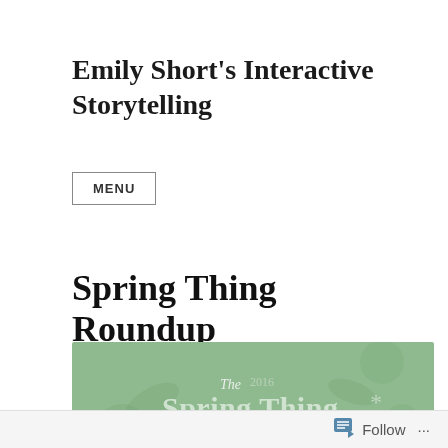Emily Short's Interactive Storytelling
MENU
Spring Thing Roundup
[Figure (illustration): Green banner image reading 'The 2016 Spring Thing* Festival' with decorative floral and icon motifs on a sage green background]
Follow ...